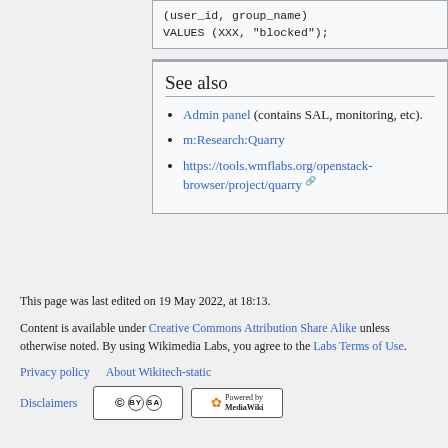(user_id, group_name)
VALUES (XXX, "blocked");
See also
Admin panel (contains SAL, monitoring, etc).
m:Research:Quarry
https://tools.wmflabs.org/openstack-browser/project/quarry
This page was last edited on 19 May 2022, at 18:13.
Content is available under Creative Commons Attribution Share Alike unless otherwise noted. By using Wikimedia Labs, you agree to the Labs Terms of Use.
Privacy policy   About Wikitech-static
Disclaimers  [CC BY SA]  [Powered by MediaWiki]